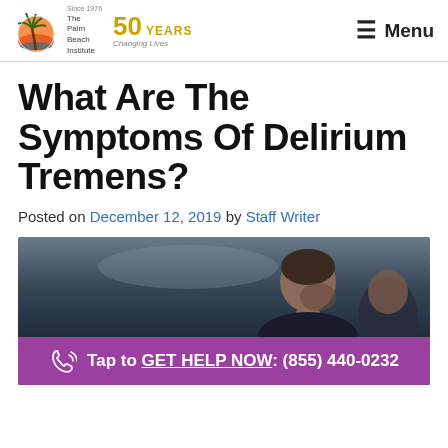The Palm Beach Institute | 50 Years Changing Lives | Menu
What Are The Symptoms Of Delirium Tremens?
Posted on December 12, 2019 by Staff Writer
[Figure (photo): A man bowing his head, appearing distressed, with a purple call-to-action bar overlaid reading 'Tap to GET HELP NOW: (855) 440-0232']